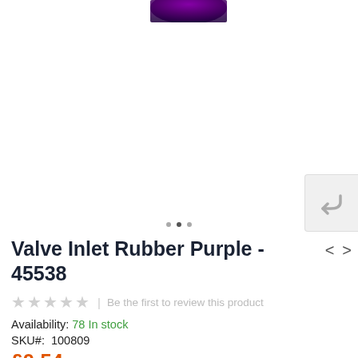[Figure (photo): Partial product image of a purple valve inlet rubber, cropped at top of page]
[Figure (screenshot): Back/reply button icon (grey arrow) in a light grey box on right side]
Valve Inlet Rubber Purple - 45538
★★★★★ | Be the first to review this product
Availability: 78 In stock
SKU#: 100809
£0.54 All prices include VAT